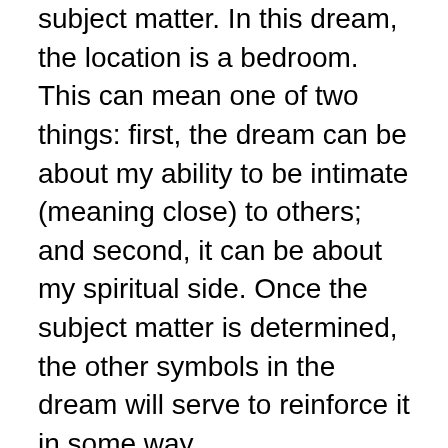subject matter. In this dream, the location is a bedroom. This can mean one of two things: first, the dream can be about my ability to be intimate (meaning close) to others; and second, it can be about my spiritual side. Once the subject matter is determined, the other symbols in the dream will serve to reinforce it in some way.
The married couple can represent aspects of me, as the first rule of dream interpretation is that everything is a representation of the dreamer. Going with this, the couple represents my masculine (rational, thinking, analytical) side and my feminine (intuitive, emotional, feeling) side. Being married suggests a balance of these sides in waking life.
The couple can also represent my parents. In this respect, the dream touches on the fact that I am not close with my